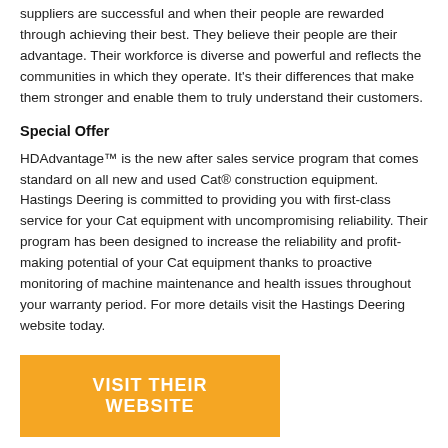suppliers are successful and when their people are rewarded through achieving their best. They believe their people are their advantage. Their workforce is diverse and powerful and reflects the communities in which they operate. It's their differences that make them stronger and enable them to truly understand their customers.
Special Offer
HDAdvantage™ is the new after sales service program that comes standard on all new and used Cat® construction equipment. Hastings Deering is committed to providing you with first-class service for your Cat equipment with uncompromising reliability. Their program has been designed to increase the reliability and profit-making potential of your Cat equipment thanks to proactive monitoring of machine maintenance and health issues throughout your warranty period. For more details visit the Hastings Deering website today.
VISIT THEIR WEBSITE